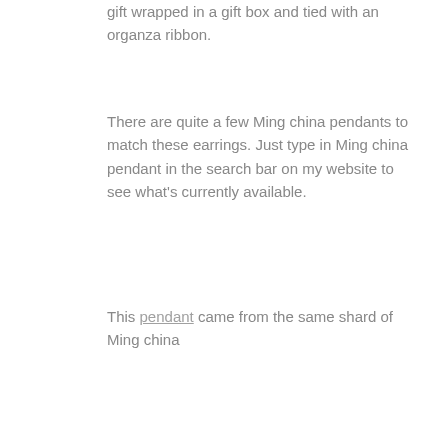gift wrapped in a gift box and tied with an organza ribbon.
There are quite a few Ming china pendants to match these earrings. Just type in Ming china pendant in the search bar on my website to see what's currently available.
This pendant came from the same shard of Ming china